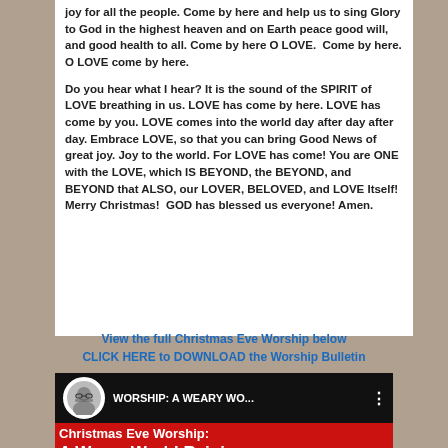joy for all the people. Come by here and help us to sing Glory to God in the highest heaven and on Earth peace good will, and good health to all. Come by here O LOVE. Come by here. O LOVE come by here.
Do you hear what I hear? It is the sound of the SPIRIT of LOVE breathing in us. LOVE has come by here. LOVE has come by you. LOVE comes into the world day after day after day. Embrace LOVE, so that you can bring Good News of great joy. Joy to the world. For LOVE has come! You are ONE with the LOVE, which IS BEYOND, the BEYOND, and BEYOND that ALSO, our LOVER, BELOVED, and LOVE Itself! Merry Christmas! GOD has blessed us everyone! Amen.
View the full Christmas Eve Worship below
CLICK HERE to DOWNLOAD the Worship Bulletin
[Figure (screenshot): Video thumbnail showing a woman in black with glasses, title 'WORSHIP: A WEARY WO...' in white on black background, and below in red background 'Christmas Eve Worship: A Weary World Rejoices' in white bold text.]